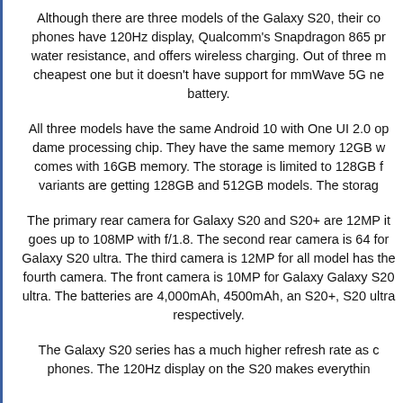Although there are three models of the Galaxy S20, their co phones have 120Hz display, Qualcomm's Snapdragon 865 pr water resistance, and offers wireless charging. Out of three m cheapest one but it doesn't have support for mmWave 5G ne battery.
All three models have the same Android 10 with One UI 2.0 op dame processing chip. They have the same memory 12GB w comes with 16GB memory. The storage is limited to 128GB f variants are getting 128GB and 512GB models. The storag
The primary rear camera for Galaxy S20 and S20+ are 12MP it goes up to 108MP with f/1.8. The second rear camera is 64 for Galaxy S20 ultra. The third camera is 12MP for all model has the fourth camera. The front camera is 10MP for Galaxy Galaxy S20 ultra. The batteries are 4,000mAh, 4500mAh, an S20+, S20 ultra respectively.
The Galaxy S20 series has a much higher refresh rate as c phones. The 120Hz display on the S20 makes everythin